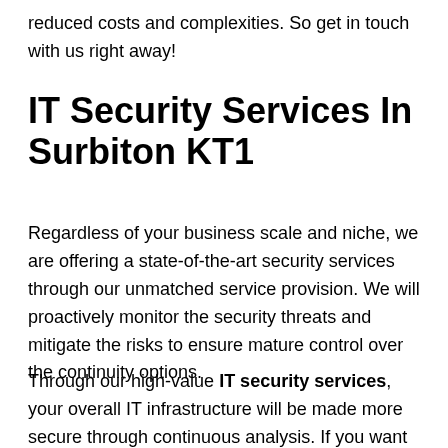reduced costs and complexities. So get in touch with us right away!
IT Security Services In Surbiton KT1
Regardless of your business scale and niche, we are offering a state-of-the-art security services through our unmatched service provision. We will proactively monitor the security threats and mitigate the risks to ensure mature control over the continuity options.
Through our high-value IT security services, your overall IT infrastructure will be made more secure through continuous analysis. If you want to ensure a